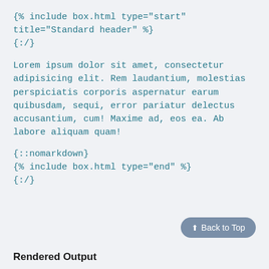{% include box.html type="start"
title="Standard header" %}
{:/}
Lorem ipsum dolor sit amet, consectetur adipisicing elit. Rem laudantium, molestias perspiciatis corporis aspernatur earum quibusdam, sequi, error pariatur delectus accusantium, cum! Maxime ad, eos ea. Ab labore aliquam quam!
{::nomarkdown}
{% include box.html type="end" %}
{:/}
⬆ Back to Top
Rendered Output